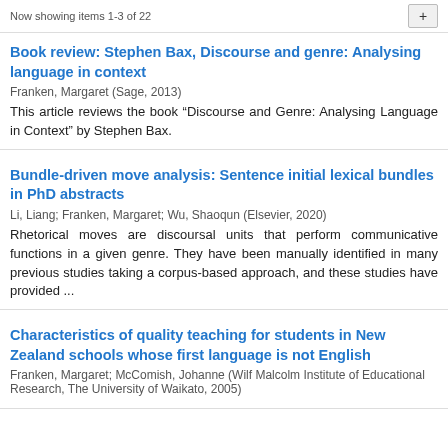Now showing items 1-3 of 22
Book review: Stephen Bax, Discourse and genre: Analysing language in context
Franken, Margaret (Sage, 2013)
This article reviews the book “Discourse and Genre: Analysing Language in Context” by Stephen Bax.
Bundle-driven move analysis: Sentence initial lexical bundles in PhD abstracts
Li, Liang; Franken, Margaret; Wu, Shaoqun (Elsevier, 2020)
Rhetorical moves are discoursal units that perform communicative functions in a given genre. They have been manually identified in many previous studies taking a corpus-based approach, and these studies have provided ...
Characteristics of quality teaching for students in New Zealand schools whose first language is not English
Franken, Margaret; McComish, Johanne (Wilf Malcolm Institute of Educational Research, The University of Waikato, 2005)